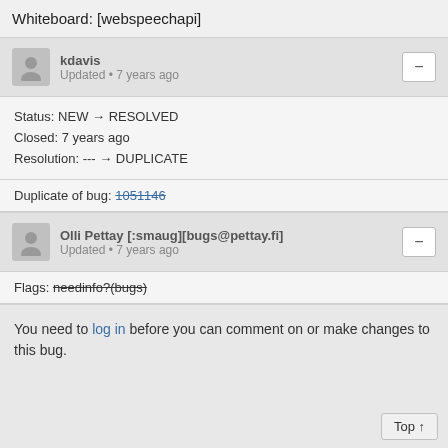Whiteboard: [webspeechapi]
kdavis
Updated • 7 years ago
Status: NEW → RESOLVED
Closed: 7 years ago
Resolution: --- → DUPLICATE
Duplicate of bug: 1051146
Olli Pettay [:smaug][bugs@pettay.fi]
Updated • 7 years ago
Flags: needinfo?(bugs)
You need to log in before you can comment on or make changes to this bug.